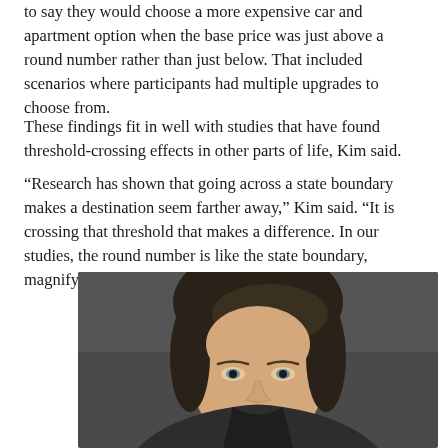to say they would choose a more expensive car and apartment option when the base price was just above a round number rather than just below. That included scenarios where participants had multiple upgrades to choose from.
These findings fit in well with studies that have found threshold-crossing effects in other parts of life, Kim said.
“Research has shown that going across a state boundary makes a destination seem farther away,” Kim said. “It is crossing that threshold that makes a difference. In our studies, the round number is like the state boundary, magnifying the perception of a difference in price.”
[Figure (photo): Portrait photo of a woman with dark hair pulled back, looking directly at the camera, against a dark gray background. The photo is cropped showing her face and upper shoulders.]